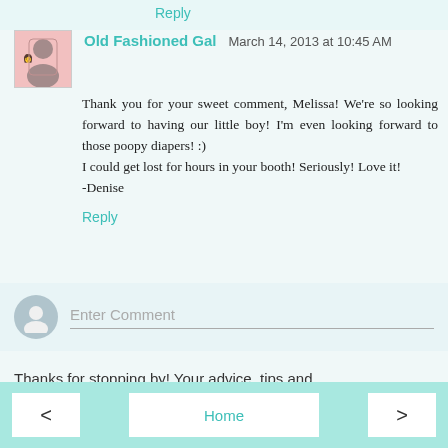Reply
Old Fashioned Gal  March 14, 2013 at 10:45 AM
Thank you for your sweet comment, Melissa! We're so looking forward to having our little boy! I'm even looking forward to those poopy diapers! :)
I could get lost for hours in your booth! Seriously! Love it!
-Denise
Reply
Enter Comment
Thanks for stopping by! Your advice, tips and comments are sincerely appreciated!!! I need all the help I can get...
< Home >